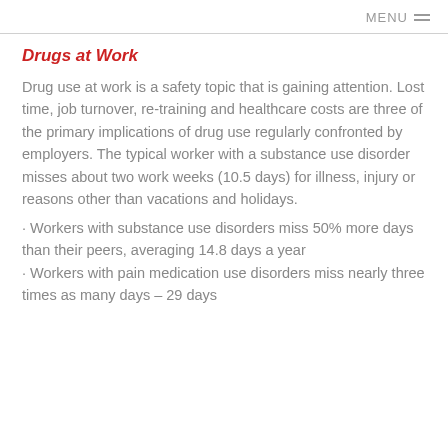MENU
Drugs at Work
Drug use at work is a safety topic that is gaining attention. Lost time, job turnover, re-training and healthcare costs are three of the primary implications of drug use regularly confronted by employers. The typical worker with a substance use disorder misses about two work weeks (10.5 days) for illness, injury or reasons other than vacations and holidays.
· Workers with substance use disorders miss 50% more days than their peers, averaging 14.8 days a year
· Workers with pain medication use disorders miss nearly three times as many days – 29 days